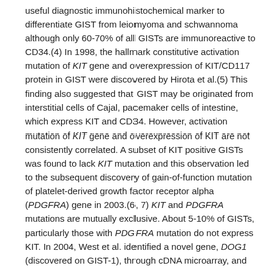useful diagnostic immunohistochemical marker to differentiate GIST from leiomyoma and schwannoma although only 60-70% of all GISTs are immunoreactive to CD34.(4) In 1998, the hallmark constitutive activation mutation of KIT gene and overexpression of KIT/CD117 protein in GIST were discovered by Hirota et al.(5) This finding also suggested that GIST may be originated from interstitial cells of Cajal, pacemaker cells of intestine, which express KIT and CD34. However, activation mutation of KIT gene and overexpression of KIT are not consistently correlated. A subset of KIT positive GISTs was found to lack KIT mutation and this observation led to the subsequent discovery of gain-of-function mutation of platelet-derived growth factor receptor alpha (PDGFRA) gene in 2003.(6, 7) KIT and PDGFRA mutations are mutually exclusive. About 5-10% of GISTs, particularly those with PDGFRA mutation do not express KIT. In 2004, West et al. identified a novel gene, DOG1 (discovered on GIST-1), through cDNA microarray, and showed DOG1 protein was highly expressed in GISTs (97.8%), including those KIT negative GISTs.(8) KIT and/or DOG1 become crucial diagnostic immunohistochemical markers for GIST. A small subgroup of GISTs with